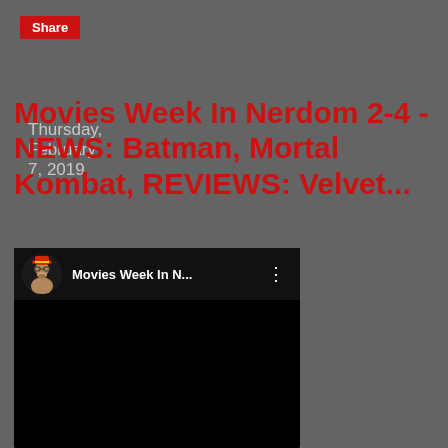Share
Thursday, February 7, 2019
Movies Week In Nerdom 2-4 - NEWS: Batman, Mortal Kombat, REVIEWS: Velvet...
[Figure (screenshot): Embedded YouTube-style video player showing 'Movies Week In N...' with a circular avatar thumbnail of a person wearing glasses, and a three-dot menu icon. The video area is black.]